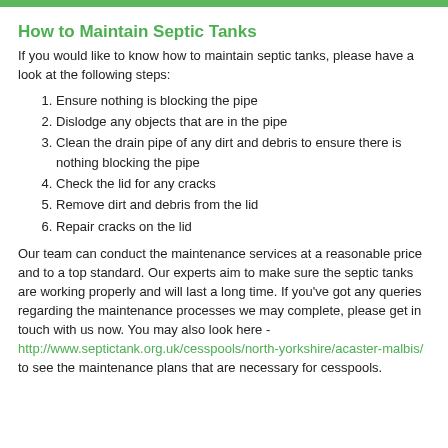How to Maintain Septic Tanks
If you would like to know how to maintain septic tanks, please have a look at the following steps:
Ensure nothing is blocking the pipe
Dislodge any objects that are in the pipe
Clean the drain pipe of any dirt and debris to ensure there is nothing blocking the pipe
Check the lid for any cracks
Remove dirt and debris from the lid
Repair cracks on the lid
Our team can conduct the maintenance services at a reasonable price and to a top standard. Our experts aim to make sure the septic tanks are working properly and will last a long time. If you've got any queries regarding the maintenance processes we may complete, please get in touch with us now. You may also look here - http://www.septictank.org.uk/cesspools/north-yorkshire/acaster-malbis/ to see the maintenance plans that are necessary for cesspools.